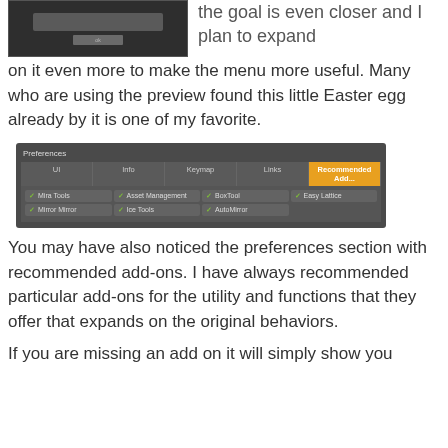[Figure (screenshot): A dark-themed dialog box with an OK button, partially visible at top of page]
the goal is even closer and I plan to expand on it even more to make the menu more useful. Many who are using the preview found this little Easter egg already by it is one of my favorite.
[Figure (screenshot): Blender Preferences window showing Recommended Add-ons tab with checkboxes for Mira Tools, Mirror Mirror, Asset Management, Ice Tools, BoxTool, AutoMirror, Easy Lattice]
You may have also noticed the preferences section with recommended add-ons. I have always recommended particular add-ons for the utility and functions that they offer that expands on the original behaviors.
If you are missing an add on it will simply show you